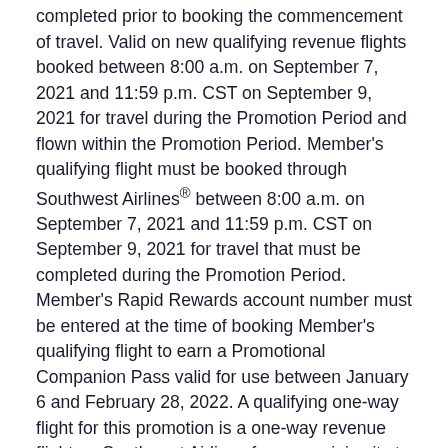completed prior to booking the commencement of travel. Valid on new qualifying revenue flights booked between 8:00 a.m. on September 7, 2021 and 11:59 p.m. CST on September 9, 2021 for travel during the Promotion Period and flown within the Promotion Period. Member's qualifying flight must be booked through Southwest Airlines® between 8:00 a.m. on September 7, 2021 and 11:59 p.m. CST on September 9, 2021 for travel that must be completed during the Promotion Period. Member's Rapid Rewards account number must be entered at the time of booking Member's qualifying flight to earn a Promotional Companion Pass valid for use between January 6 and February 28, 2022. A qualifying one-way flight for this promotion is a one-way revenue flight on Southwest Airlines from an origin city to a destination city, including any intermediate stops and/or connections on Southwest Airlines. A qualifying round trip flight for this promotion is a round trip revenue flight on Southwest Airlines from an origin city to a destination city and back to the originating airport or carrier-recognized co-